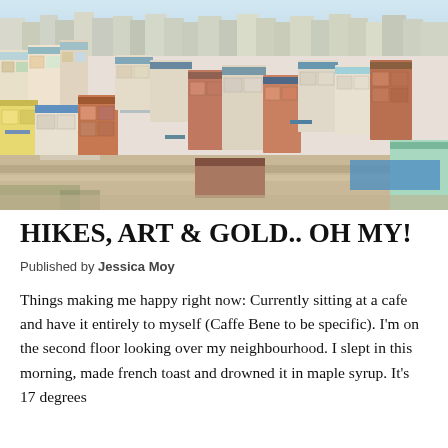[Figure (photo): Aerial/elevated view of a dense Korean hillside neighbourhood with colourful multi-story buildings packed closely together, blue rooftops, brick facades, and a light blue sky.]
HIKES, ART & GOLD.. OH MY!
Published by Jessica Moy
Things making me happy right now: Currently sitting at a cafe and have it entirely to myself (Caffe Bene to be specific). I'm on the second floor looking over my neighbourhood. I slept in this morning, made french toast and drowned it in maple syrup. It's 17 degrees